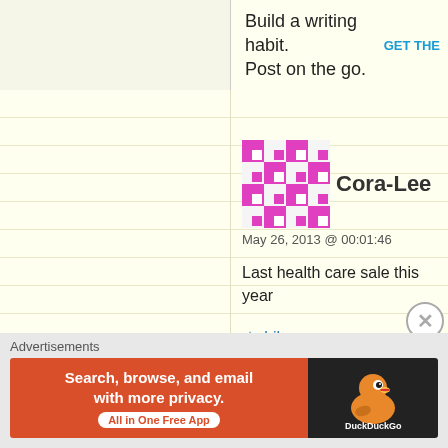[Figure (other): Top advertisement banner with text 'Build a writing habit. Post on the go.' and 'GET THE' call to action button]
[Figure (other): Pink/magenta geometric mosaic avatar for user Cora-Lee]
Cora-Lee
May 26, 2013 @ 00:01:46
Last health care sale this year
★ Like
↩ REPLY
[Figure (logo): Hitch-Hikers' Handbook logo - black silhouette of hiker with text HitchHikersHandbook.com]
Hitch-Hikers' Handbook
May 30, 2013 @ 11:47:50
Hi James, we're really happy you find Hitch-Hikers' Hand... looks like a nice collection of interesting stuff and we'll de...
Advertisements
[Figure (other): DuckDuckGo advertisement banner: 'Search, browse, and email with more privacy. All in One Free App' with DuckDuckGo logo]